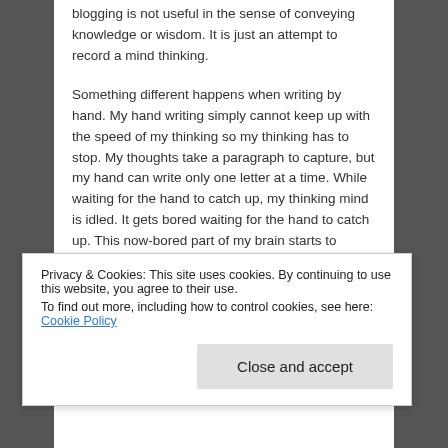blogging is not useful in the sense of conveying knowledge or wisdom. It is just an attempt to record a mind thinking.
Something different happens when writing by hand. My hand writing simply cannot keep up with the speed of my thinking so my thinking has to stop. My thoughts take a paragraph to capture, but my hand can write only one letter at a time. While waiting for the hand to catch up, my thinking mind is idled. It gets bored waiting for the hand to catch up. This now-bored part of my brain starts to wander.
While I write out the thought my brain has tasked my writing hand to capture, the bored brain wanders up to the words I have already written. The words...
Privacy & Cookies: This site uses cookies. By continuing to use this website, you agree to their use.
To find out more, including how to control cookies, see here: Cookie Policy